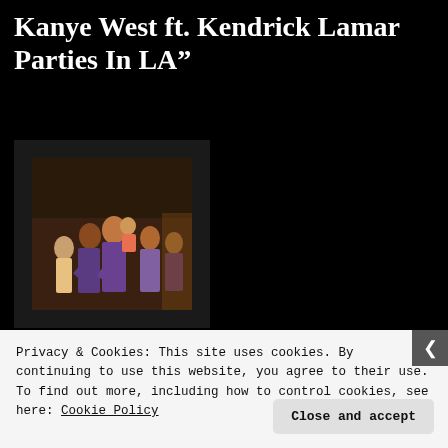Kanye West ft. Kendrick Lamar Parties In LA”
[Figure (photo): Album artwork showing a group of people, adults and children, gathered together in what appears to be a family or community photo, displayed on a dark background SoundCloud-style player]
Kanye West
Privacy & Cookies: This site uses cookies. By continuing to use this website, you agree to their use.
To find out more, including how to control cookies, see here: Cookie Policy
Close and accept